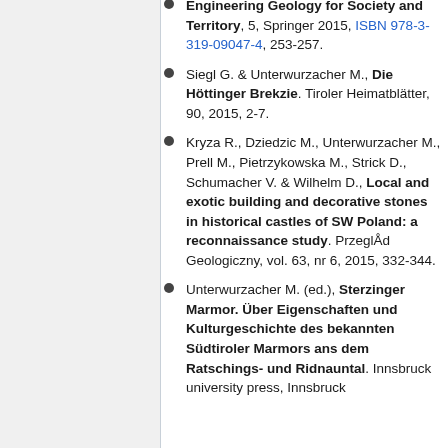Engineering Geology for Society and Territory, 5, Springer 2015, ISBN 978-3-319-09047-4, 253-257.
Siegl G. & Unterwurzacher M., Die Höttinger Brekzie. Tiroler Heimatblätter, 90, 2015, 2-7.
Kryza R., Dziedzic M., Unterwurzacher M., Prell M., Pietrzykowska M., Strick D., Schumacher V. & Wilhelm D., Local and exotic building and decorative stones in historical castles of SW Poland: a reconnaissance study. PrzeglÅd Geologiczny, vol. 63, nr 6, 2015, 332-344.
Unterwurzacher M. (ed.), Sterzinger Marmor. Über Eigenschaften und Kulturgeschichte des bekannten Südtiroler Marmors ans dem Ratschings- und Ridnauntal. Innsbruck university press, Innsbruck